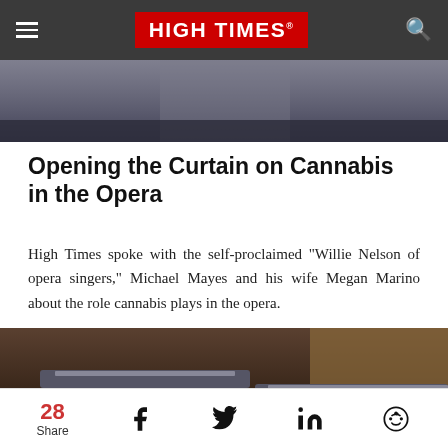HIGH TIMES
[Figure (photo): Partial photo of a person, dark curtain background, top strip]
Opening the Curtain on Cannabis in the Opera
High Times spoke with the self-proclaimed "Willie Nelson of opera singers," Michael Mayes and his wife Megan Marino about the role cannabis plays in the opera.
[Figure (photo): Photo showing game show podiums with $50,000 displayed on blue panels]
28 Share